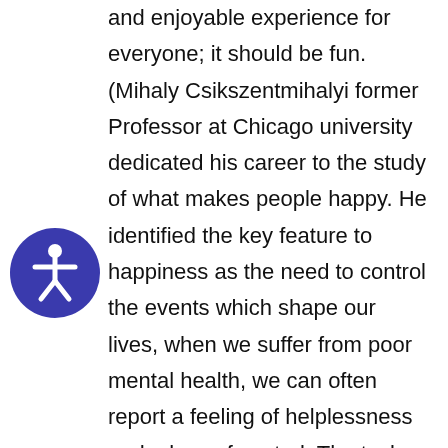and enjoyable experience for everyone; it should be fun. (Mihaly Csikszentmihalyi former Professor at Chicago university dedicated his career to the study of what makes people happy. He identified the key feature to happiness as the need to control the events which shape our lives, when we suffer from poor mental health, we can often report a feeling of helplessness and a loss of control. The task for professionals is to identify how a particular pattern of behaviour might be working for the individual concerned and try to help the person to find alternative ways of having those needs met. To re-channel the energy that is negatively presented towards a more positive, socially
[Figure (illustration): Accessibility icon — a blue circle with a white stick figure (universal accessibility symbol)]